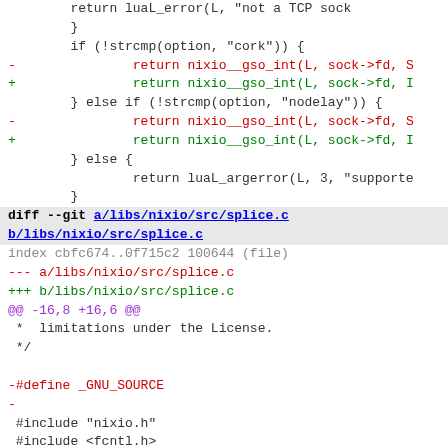Code diff showing changes to libs/nixio/src/splice.c and related TCP socket option code
[Figure (screenshot): Git diff output showing code changes in C source files]